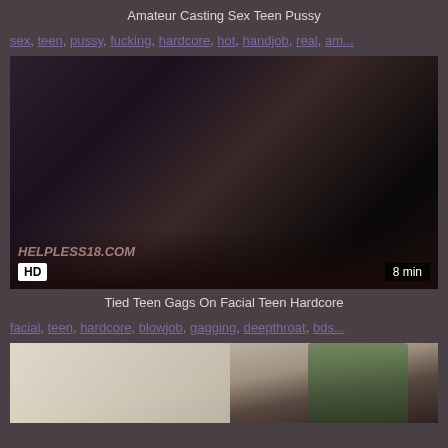Amateur Casting Sex Teen Pussy
sex, teen, pussy, fucking, hardcore, hot, handjob, real, am...
[Figure (screenshot): Dark video thumbnail showing a dim scene with HD badge bottom-left and '8 min' badge bottom-right, watermark HELPLESS18.COM]
Tied Teen Gags On Facial Teen Hardcore
facial, teen, hardcore, blowjob, gagging, deepthroat, bds...
[Figure (screenshot): Partially visible video thumbnail showing a person in a bright room with a plant visible]